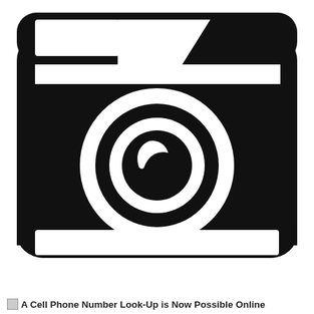[Figure (illustration): Black camera icon illustration — a compact camera with rounded rectangle body, viewfinder bump and rectangular flash on top, large circular lens in center with inner lens ring and highlight, and a white rectangular strip along the bottom]
A Cell Phone Number Look-Up is Now Possible Online